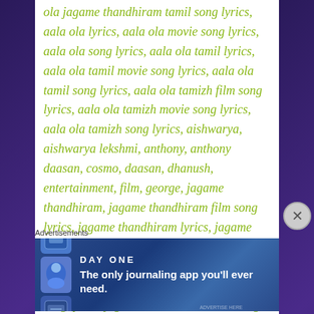ola jagame thandhiram tamil song lyrics, aala ola lyrics, aala ola movie song lyrics, aala ola song lyrics, aala ola tamil lyrics, aala ola tamil movie song lyrics, aala ola tamil song lyrics, aala ola tamizh film song lyrics, aala ola tamizh movie song lyrics, aala ola tamizh song lyrics, aishwarya, aishwarya lekshmi, anthony, anthony daasan, cosmo, daasan, dhanush, entertainment, film, george, jagame thandhiram, jagame thandhiram film song lyrics, jagame thandhiram lyrics, jagame thandhiram movie song lyrics, jagame thandhiram song lyrics, jagame thandhiram tamil lyrics, jagame thandhiram tamil movie song lyrics, jagame thandhiram tamil song lyrics, jagame thandhiram tamizh film song lyrics, jagame thandhiram tamizh movie song lyrics, jagame thandhiram tamizh song
Advertisements
[Figure (other): Day One journaling app advertisement banner with blue starry background, app icons, and text 'The only journaling app you'll ever need.']